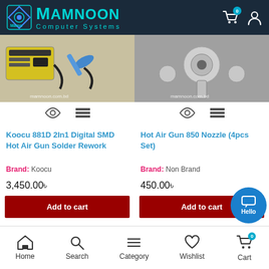Mamnoon Computer Systems
[Figure (screenshot): Koocu 881D 2In1 Digital SMD Hot Air Gun Solder Rework station product image with mamnoon.com.bd watermark]
[Figure (screenshot): Hot Air Gun 850 Nozzle (4pcs Set) product image with mamnoon.com.bd watermark]
Koocu 881D 2In1 Digital SMD Hot Air Gun Solder Rework
Hot Air Gun 850 Nozzle (4pcs Set)
Brand: Koocu
Brand: Non Brand
3,450.00৳
450.00৳
Home  Search  Category  Wishlist  Cart